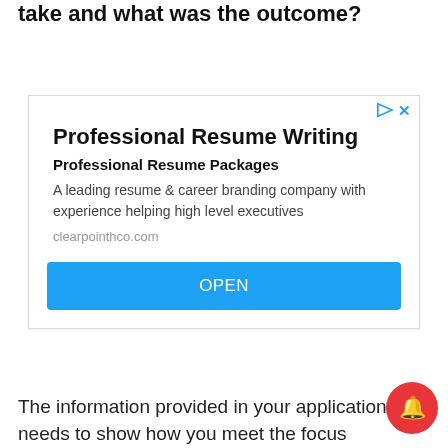take and what was the outcome?
[Figure (screenshot): Advertisement box for 'Professional Resume Writing' with subtitle 'Professional Resume Packages', description text 'A leading resume & career branding company with experience helping high level executives', URL 'clearpointhco.com', and a blue OPEN button. Top-right has ad indicator icons (play/triangle and X in blue).]
The information provided in your application needs to show how you meet the focus